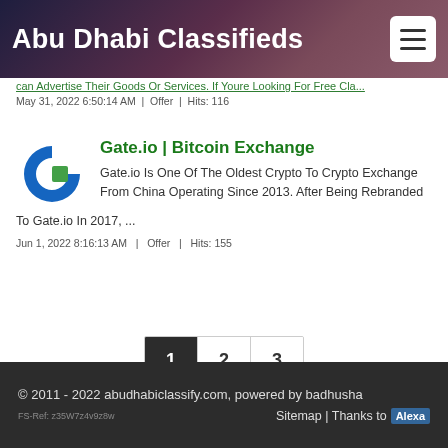Abu Dhabi Classifieds
can Advertise Their Goods Or Services. If Youre Looking For Free Cla... | May 31, 2022 6:50:14 AM | Offer | Hits: 116
Gate.io | Bitcoin Exchange
Gate.io Is One Of The Oldest Crypto To Crypto Exchange From China Operating Since 2013. After Being Rebranded To Gate.io In 2017, ...
Jun 1, 2022 8:16:13 AM  |  Offer  |  Hits: 155
1  2  3
© 2011 - 2022 abudhabiclassify.com, powered by badhusha | FS-Ref: z35W7z4v9z8w | Sitemap | Thanks to Alexa